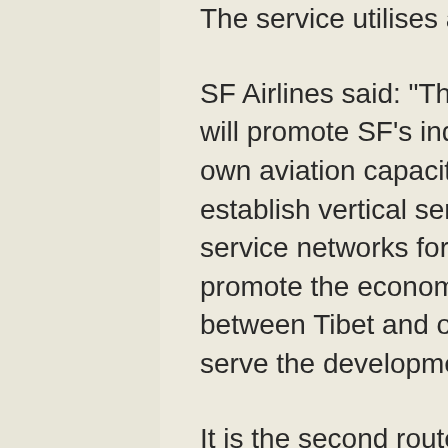The service utilises a Boeing B757-200F.
SF Airlines said: "The Lhasa-Chengdu freight route will promote SF's industrial advantages of utilising its own aviation capacity and e-commerce platforms to establish vertical service channels and regional service networks for agricultural products, and further promote the economic and trade co-operation between Tibet and other domestic regions, as well as serve the development of agriculture in Tibet."
It is the second route launched by the airline this year, following a new operation to Mongolia on a Shenyang-Changchun-Ulan Bator-Shenyang loop.